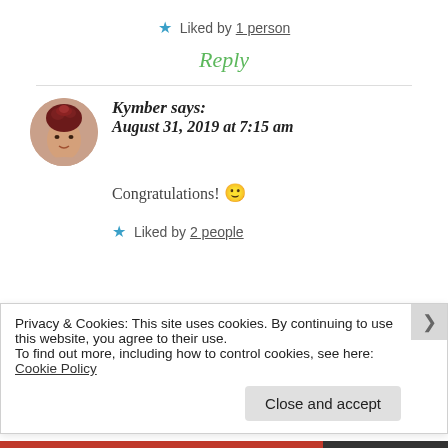★ Liked by 1 person
Reply
Kymber says: August 31, 2019 at 7:15 am
Congratulations! 🙂
★ Liked by 2 people
Privacy & Cookies: This site uses cookies. By continuing to use this website, you agree to their use.
To find out more, including how to control cookies, see here: Cookie Policy
Close and accept